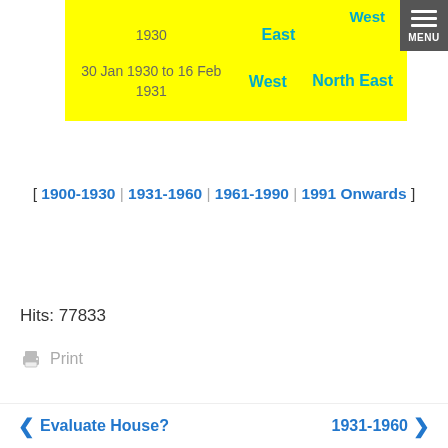| Date | Direction1 | Direction2 |
| --- | --- | --- |
| 1930 | East | West |
| 30 Jan 1930 to 16 Feb 1931 | West | North East |
[ 1900-1930 | 1931-1960 | 1961-1990 | 1991 Onwards ]
Hits: 77833
Print
< Evaluate House?    1931-1960 >